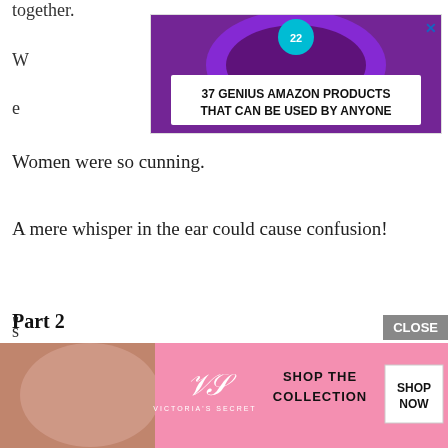together.
[Figure (screenshot): Advertisement banner showing purple headphones with text '37 GENIUS AMAZON PRODUCTS THAT CAN BE USED BY ANYONE']
Women were so cunning.
A mere whisper in the ear could cause confusion!
Part 2
I used Snipe to excel at the shooting game stall, and then abused my naturally high Luck to destroy at the lottery stall.
"
[Figure (screenshot): Victoria's Secret advertisement banner with pink background showing 'SHOP THE COLLECTION' and 'SHOP NOW' button]